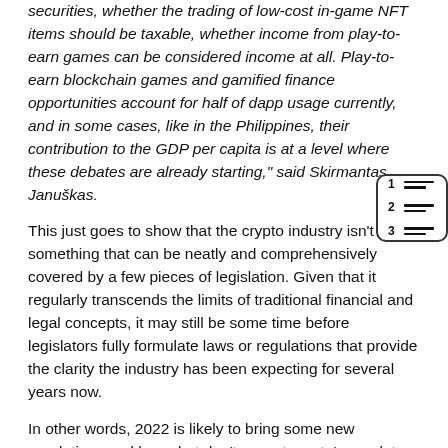securities, whether the trading of low-cost in-game NFT items should be taxable, whether income from play-to-earn games can be considered income at all. Play-to-earn blockchain games and gamified finance opportunities account for half of dapp usage currently, and in some cases, like in the Philippines, their contribution to the GDP per capita is at a level where these debates are already starting," said Skirmantas Januškas.
[Figure (illustration): A small table of contents icon showing three numbered rows (1, 2, 3) each with horizontal lines representing text, inside a rounded rectangle border.]
This just goes to show that the crypto industry isn't something that can be neatly and comprehensively covered by a few pieces of legislation. Given that it regularly transcends the limits of traditional financial and legal concepts, it may still be some time before legislators fully formulate laws or regulations that provide the clarity the industry has been expecting for several years now.
In other words, 2022 is likely to bring some new regulations and laws, but don't expect crypto's regulatory issues to be solved in its 12 months.